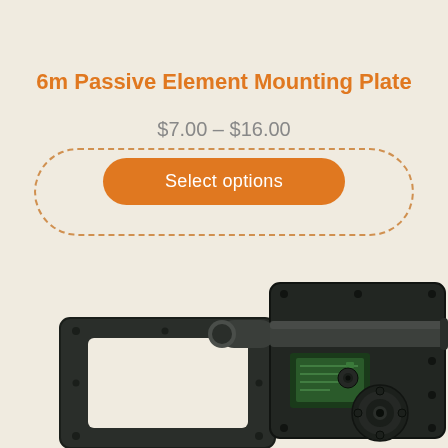6m Passive Element Mounting Plate
$7.00 – $16.00
Select options
[Figure (photo): Product photo showing a 6m passive element mounting plate assembly — a dark green/black rectangular bracket frame on the left and a motor/gear mechanism with a horizontal rod/tube on the right, on a light beige background.]